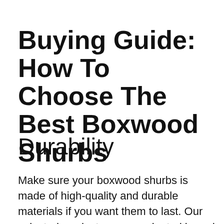Buying Guide: How To Choose The Best Boxwood Shurbs
Durability
Make sure your boxwood shurbs is made of high-quality and durable materials if you want them to last. Our selected products were evaluated based on a variety of criteria in order to evaluate their quality and durability. Despite its reputation as one of the best boxwood shurbs manufacturers th...